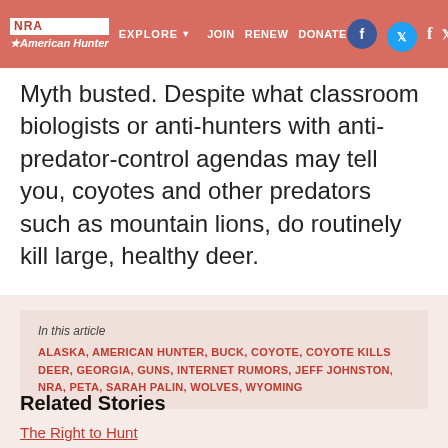NRA EXPLORE | JOIN | RENEW | DONATE | American Hunter
Myth busted. Despite what classroom biologists or anti-hunters with anti-predator-control agendas may tell you, coyotes and other predators such as mountain lions, do routinely kill large, healthy deer.
In this article
ALASKA, AMERICAN HUNTER, BUCK, COYOTE, COYOTE KILLS DEER, GEORGIA, GUNS, INTERNET RUMORS, JEFF JOHNSTON, NRA, PETA, SARAH PALIN, WOLVES, WYOMING
Related Stories
The Right to Hunt
A Wyoming Elk with NRA Outdoors
Suppressing Suppressor Myths
Video: We're the NRA
Hunting Osceolas in Florida